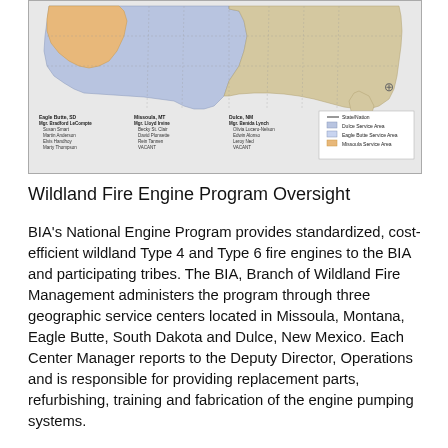[Figure (map): US map showing three BIA geographic service center areas: Eagle Butte Service Area (blue/purple, western US), Dulce Service Area (tan/beige, central US), and Missoula Service Area (orange, northwest US). Legend and staff names for each center are shown below the map.]
Wildland Fire Engine Program Oversight
BIA's National Engine Program provides standardized, cost-efficient wildland Type 4 and Type 6 fire engines to the BIA and participating tribes. The BIA, Branch of Wildland Fire Management administers the program through three geographic service centers located in Missoula, Montana, Eagle Butte, South Dakota and Dulce, New Mexico. Each Center Manager reports to the Deputy Director, Operations and is responsible for providing replacement parts, refurbishing, training and fabrication of the engine pumping systems.